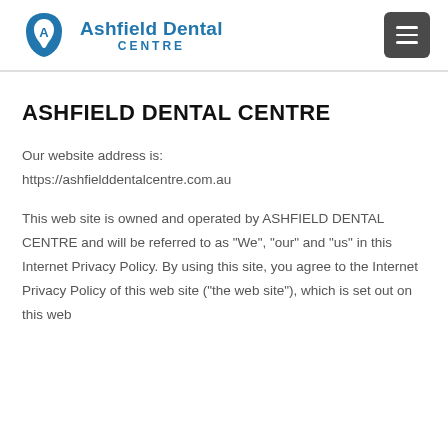[Figure (logo): Ashfield Dental Centre logo with blue tooth/shield icon and text]
ASHFIELD DENTAL CENTRE
Our website address is:
https://ashfielddentalcentre.com.au
This web site is owned and operated by ASHFIELD DENTAL CENTRE and will be referred to as "We", "our" and "us" in this Internet Privacy Policy. By using this site, you agree to the Internet Privacy Policy of this web site ("the web site"), which is set out on this web